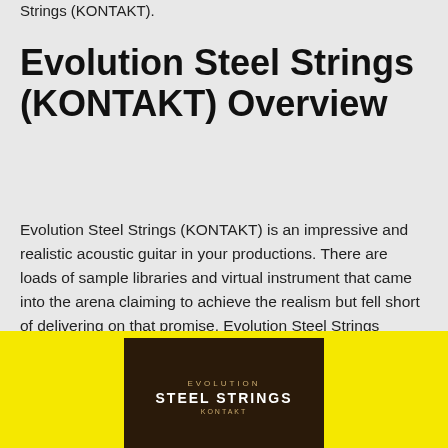Strings (KONTAKT).
Evolution Steel Strings (KONTAKT) Overview
Evolution Steel Strings (KONTAKT) is an impressive and realistic acoustic guitar in your productions. There are loads of sample libraries and virtual instrument that came into the arena claiming to achieve the realism but fell short of delivering on that promise. Evolution Steel Strings (KONTAKT) is the one application which presents a breakthrough in sampled acoustic guitar. You can also download Sonokinetic Sultan Strings (KONTAKT).
[Figure (photo): Yellow background with Evolution Steel Strings product box (dark brown box with gold and white lettering showing 'EVOLUTION STEEL STRINGS')]